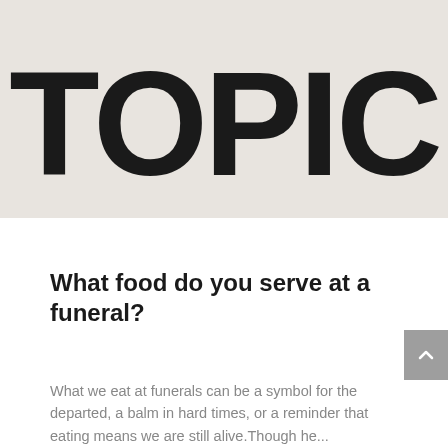[Figure (other): Large bold text 'TOPIC' displayed in a cropped banner on a beige/off-white background, showing from roughly 'OPIC' portion visible]
What food do you serve at a funeral?
What we eat at funerals can be a symbol for the departed, a balm in hard times, or a reminder that eating means we are still alive.Though he...